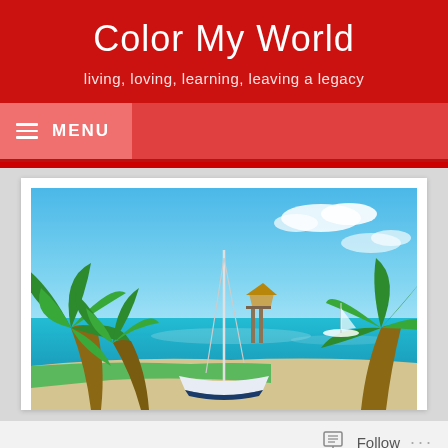Color My World
living, loving, learning, leaving a legacy
MENU
[Figure (photo): Tropical beach scene with palm trees, a white sailboat on the shore, turquoise ocean water, a pier with a thatched-roof hut, and a blue sky with clouds.]
Follow ...